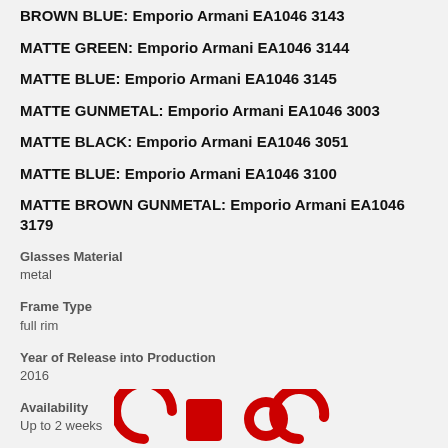BROWN BLUE: Emporio Armani EA1046 3143
MATTE GREEN: Emporio Armani EA1046 3144
MATTE BLUE: Emporio Armani EA1046 3145
MATTE GUNMETAL: Emporio Armani EA1046 3003
MATTE BLACK: Emporio Armani EA1046 3051
MATTE BLUE: Emporio Armani EA1046 3100
MATTE BROWN GUNMETAL: Emporio Armani EA1046 3179
Glasses Material
metal
Frame Type
full rim
Year of Release into Production
2016
Availability
Up to 2 weeks
About Us
[Figure (logo): Red logo graphic at the bottom of the page]